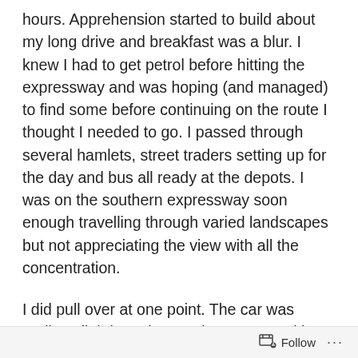hours. Apprehension started to build about my long drive and breakfast was a blur. I knew I had to get petrol before hitting the expressway and was hoping (and managed) to find some before continuing on the route I thought I needed to go. I passed through several hamlets, street traders setting up for the day and bus all ready at the depots. I was on the southern expressway soon enough travelling through varied landscapes but not appreciating the view with all the concentration.
I did pull over at one point. The car was rattling slightly and a passing car was either pointing to the wheels or describing something obscure between themselves. The only thing I could see of concern was a repaired puncture on the back right wheel, but nothing that would cause a racket. So, on I went and pulled over after paying the exit fee for the toll booth and turned on the wonderful
Follow ···